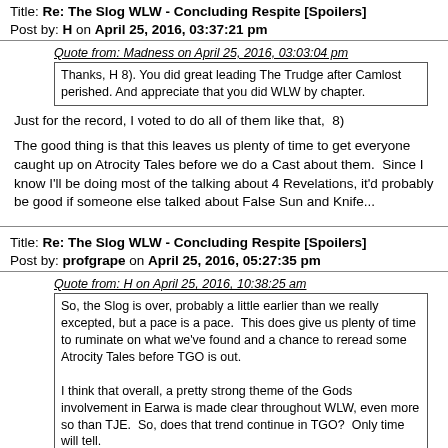Title: Re: The Slog WLW - Concluding Respite [Spoilers]
Post by: H on April 25, 2016, 03:37:21 pm
Quote from: Madness on April 25, 2016, 03:03:04 pm
Thanks, H 8). You did great leading The Trudge after Camlost perished. And appreciate that you did WLW by chapter.
Just for the record, I voted to do all of them like that,  8)
The good thing is that this leaves us plenty of time to get everyone caught up on Atrocity Tales before we do a Cast about them.  Since I know I'll be doing most of the talking about 4 Revelations, it'd probably be good if someone else talked about False Sun and Knife...
Title: Re: The Slog WLW - Concluding Respite [Spoilers]
Post by: profgrape on April 25, 2016, 05:27:35 pm
Quote from: H on April 25, 2016, 10:38:25 am
So, the Slog is over, probably a little earlier than we really excepted, but a pace is a pace.  This does give us plenty of time to ruminate on what we've found and a chance to reread some Atrocity Tales before TGO is out.

I think that overall, a pretty strong theme of the Gods involvement in Earwa is made clear throughout WLW, even more so than TJE.  So, does that trend continue in TGO?  Only time will tell.
I kind of think it has to.  That's one of the biggest takeaway's I've had from the Slog: the Gods are way more involved than I originally thought.